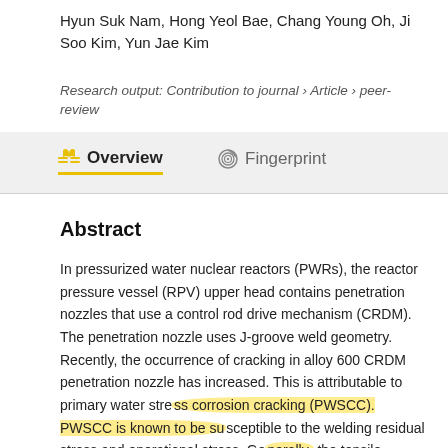Hyun Suk Nam, Hong Yeol Bae, Chang Young Oh, Ji Soo Kim, Yun Jae Kim
Research output: Contribution to journal › Article › peer-review
Overview
Fingerprint
Abstract
In pressurized water nuclear reactors (PWRs), the reactor pressure vessel (RPV) upper head contains penetration nozzles that use a control rod drive mechanism (CRDM). The penetration nozzle uses J-groove weld geometry. Recently, the occurrence of cracking in alloy 600 CRDM penetration nozzle has increased. This is attributable to primary water stress corrosion cracking (PWSCC). PWSCC is known to be susceptible to the welding residual stress and operational stress. Generally, the tensile residual stress is the main factor contributing to crack